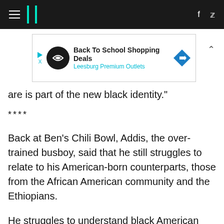HuffPost navigation header with hamburger menu, logo, Facebook and Twitter icons
[Figure (other): Advertisement banner for Back To School Shopping Deals at Leesburg Premium Outlets with play button, logo circle, blue diamond icon]
are is part of the new black identity."
****
Back at Ben's Chili Bowl, Addis, the over-trained busboy, said that he still struggles to relate to his American-born counterparts, those from the African American community and the Ethiopians.
He struggles to understand black American slang and dialects. Because of his thick accent, some assume that he neither speaks nor understands